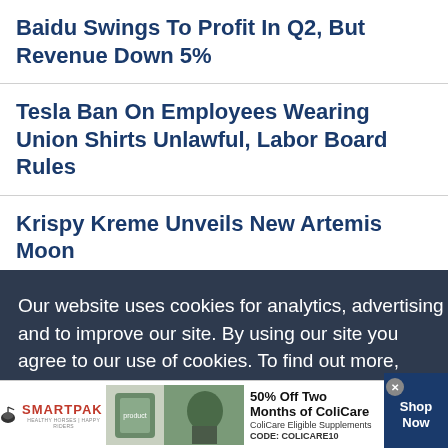Baidu Swings To Profit In Q2, But Revenue Down 5%
Tesla Ban On Employees Wearing Union Shirts Unlawful, Labor Board Rules
Krispy Kreme Unveils New Artemis Moon ...
Our website uses cookies for analytics, advertising and to improve our site. By using our site you agree to our use of cookies. To find out more, including how to change your settings, see our Cookie Policy  Learn More
[Figure (infographic): SmartPak advertisement: 50% Off Two Months of ColiCare. ColiCare Eligible Supplements. CODE: COLICARE10. Shop Now button.]